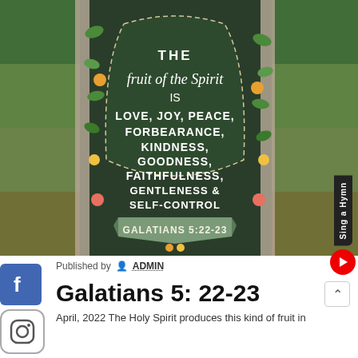[Figure (illustration): Decorative illustration on dark green background with fruits, leaves, and an arch border. Text reads: THE fruit of the Spirit IS LOVE, JOY, PEACE, FORBEARANCE, KINDNESS, GOODNESS, FAITHFULNESS, GENTLENESS & SELF-CONTROL. Banner at bottom reads: GALATIANS 5:22-23]
Published by ADMIN
Galatians 5: 22-23
April, 2022 The Holy Spirit produces this kind of fruit in